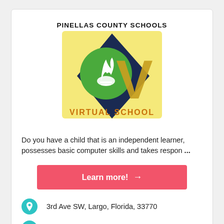[Figure (logo): Pinellas County Schools Virtual School logo — navy blue diamond shape with green circle containing a white flame/torch icon, overlaid with a large gold V, text 'VIRTUAL SCHOOL' in orange below on yellow background, 'PINELLAS COUNTY SCHOOLS' text above in black]
Do you have a child that is an independent learner, possesses basic computer skills and takes respon ...
Learn more! →
3rd Ave SW, Largo, Florida, 33770
727-588-6448
SALT of Trinity